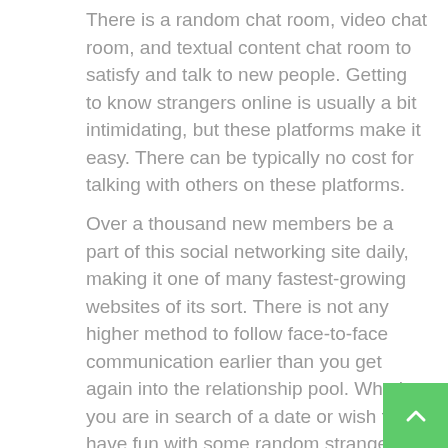There is a random chat room, video chat room, and textual content chat room to satisfy and talk to new people. Getting to know strangers online is usually a bit intimidating, but these platforms make it easy. There can be typically no cost for talking with others on these platforms.
Over a thousand new members be a part of this social networking site daily, making it one of many fastest-growing websites of its sort. There is not any higher method to follow face-to-face communication earlier than you get again into the relationship pool. Whether you are in search of a date or wish to have fun with some random strangers, this site is probably one of the best choices for you. Another free video chat online on the list is ChatRad.